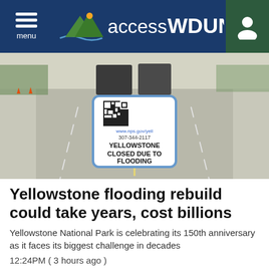accessWDUN — menu / user icon header
[Figure (photo): Photo of a road closed at Yellowstone National Park with a sign reading: www.nps.gov/yell, 307-344-2117, YELLOWSTONE CLOSED DUE TO FLOODING]
Yellowstone flooding rebuild could take years, cost billions
Yellowstone National Park is celebrating its 150th anniversary as it faces its biggest challenge in decades
12:24PM ( 3 hours ago )